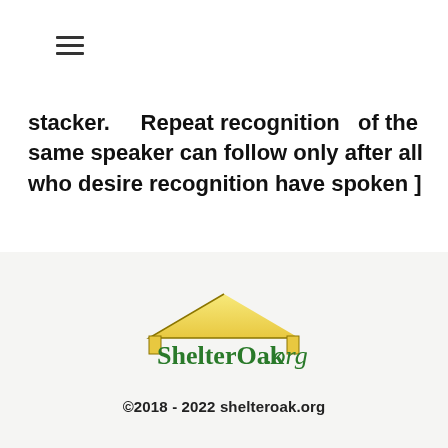☰
stacker.    Repeat recognition  of the same speaker can follow only after all who desire recognition have spoken ]
[Figure (logo): ShelterOak.org logo with a yellow/gold house roof shape above the text 'ShelterOak.org' in green serif-italic font]
©2018 - 2022 shelteroak.org